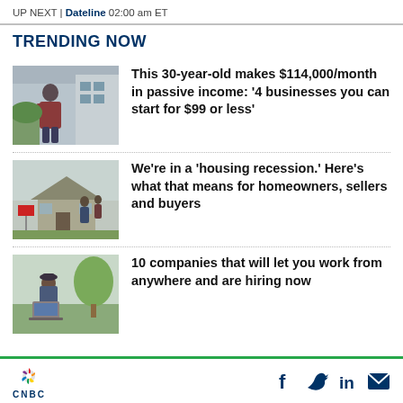UP NEXT | Dateline 02:00 am ET
TRENDING NOW
[Figure (photo): Young man in red hoodie standing in front of a building]
This 30-year-old makes $114,000/month in passive income: '4 businesses you can start for $99 or less'
[Figure (photo): People outside a house with a for sale sign in yard]
We're in a 'housing recession.' Here's what that means for homeowners, sellers and buyers
[Figure (photo): Man working on laptop outdoors]
10 companies that will let you work from anywhere and are hiring now
CNBC logo with social icons: Facebook, Twitter, LinkedIn, Email